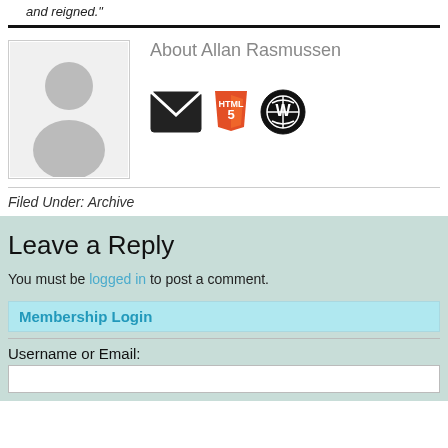and reigned."
[Figure (photo): Author avatar placeholder with silhouette icon]
About Allan Rasmussen
[Figure (infographic): Social icons: email/mail icon, HTML5 icon, WordPress icon]
Filed Under: Archive
Leave a Reply
You must be logged in to post a comment.
Membership Login
Username or Email: